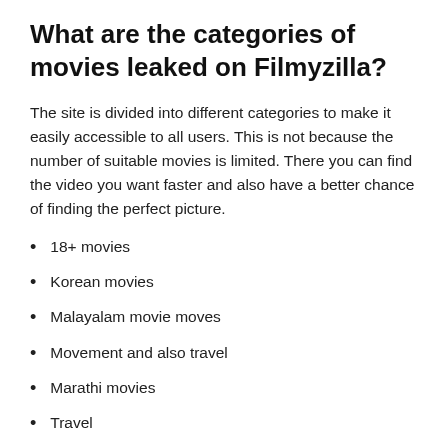What are the categories of movies leaked on Filmyzilla?
The site is divided into different categories to make it easily accessible to all users. This is not because the number of suitable movies is limited. There you can find the video you want faster and also have a better chance of finding the perfect picture.
18+ movies
Korean movies
Malayalam movie moves
Movement and also travel
Marathi movies
Travel